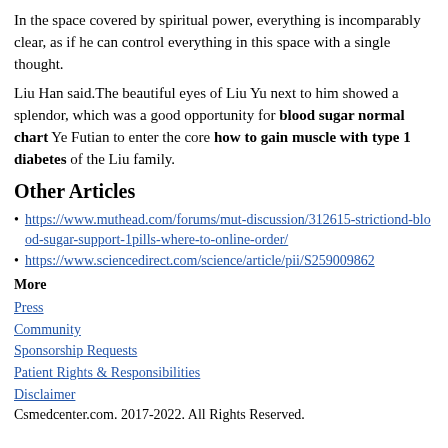In the space covered by spiritual power, everything is incomparably clear, as if he can control everything in this space with a single thought.
Liu Han said.The beautiful eyes of Liu Yu next to him showed a splendor, which was a good opportunity for blood sugar normal chart Ye Futian to enter the core how to gain muscle with type 1 diabetes of the Liu family.
Other Articles
https://www.muthead.com/forums/mut-discussion/312615-strictiond-blood-sugar-support-1pills-where-to-online-order/
https://www.sciencedirect.com/science/article/pii/S259009862
More
Press
Community
Sponsorship Requests
Patient Rights & Responsibilities
Disclaimer
Csmedcenter.com. 2017-2022. All Rights Reserved.